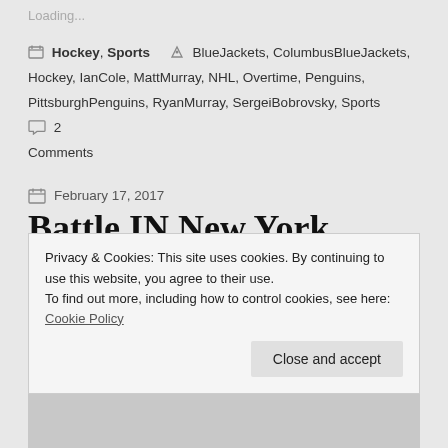Loading...
Hockey, Sports   BlueJackets, ColumbusBlueJackets, Hockey, IanCole, MattMurray, NHL, Overtime, Penguins, PittsburghPenguins, RyanMurray, SergeiBobrovsky, Sports   2 Comments
February 17, 2017
Battle IN New York
Privacy & Cookies: This site uses cookies. By continuing to use this website, you agree to their use.
To find out more, including how to control cookies, see here: Cookie Policy
Close and accept